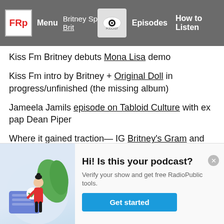FRp Menu · Britney Spears IG Brit Spears · Episodes · How to Listen
Kiss Fm Britney debuts Mona Lisa demo
Kiss Fm intro by Britney + Original Doll in progress/unfinished (the missing album)
Jameela Jamils episode on Tabloid Culture with ex pap Dean Piper
Where it gained traction— IG Britney's Gram and their podcasts Britney's Gram & Toxic: The Britney Spears Story
[Figure (illustration): Illustration of a woman with dark bun hair wearing red top and black pants, standing next to a large blue card with checkmark, green leaves in background]
Hi! Is this your podcast? Verify your show and get free RadioPublic tools. Get started